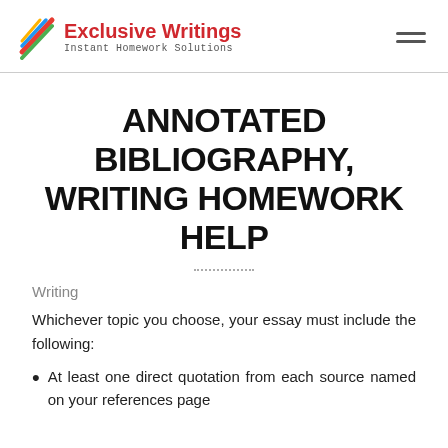Exclusive Writings — Instant Homework Solutions
ANNOTATED BIBLIOGRAPHY, WRITING HOMEWORK HELP
Writing
Whichever topic you choose, your essay must include the following:
At least one direct quotation from each source named on your references page